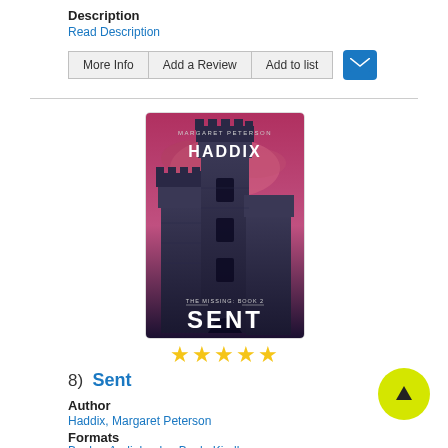Description
Read Description
More Info | Add a Review | Add to list
[Figure (illustration): Book cover for 'Sent' by Margaret Peterson Haddix (The Missing: Book 2), showing a dark gothic castle under a pink/red stormy sky]
★★★★★
8)  Sent
Author
Haddix, Margaret Peterson
Formats
Book, eAudiobook, eBook, Kindle